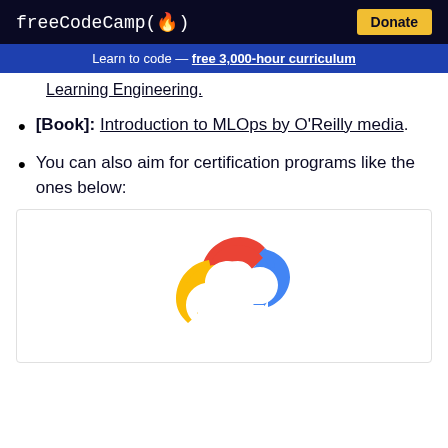freeCodeCamp(🔥)  Donate
Learn to code — free 3,000-hour curriculum
Learning Engineering.
[Book]: Introduction to MLOps by O'Reilly media.
You can also aim for certification programs like the ones below:
[Figure (logo): Google Cloud logo — multicolored cloud shape with red, blue, yellow, and green segments and a white cloud cutout]